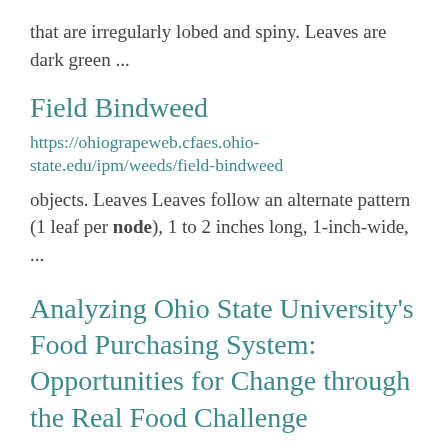that are irregularly lobed and spiny. Leaves are dark green ...
Field Bindweed
https://ohiograpeweb.cfaes.ohio-state.edu/ipm/weeds/field-bindweed
objects. Leaves Leaves follow an alternate pattern (1 leaf per node), 1 to 2 inches long, 1-inch-wide, ...
Analyzing Ohio State University's Food Purchasing System: Opportunities for Change through the Real Food Challenge